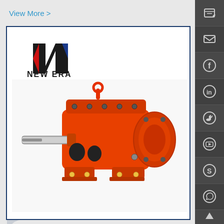View More >
[Figure (logo): New Era logo with stylized N arrow mark in blue/red and black text 'NEW ERA']
[Figure (photo): Red industrial gearbox/gear reducer unit with silver output shaft, mounting feet, and circular flange on right side]
[Figure (illustration): Right sidebar with social media icons: edit/pencil, email/envelope, Facebook, LinkedIn, Twitter, YouTube, Skype, WhatsApp, and up arrow. Dark grey background.]